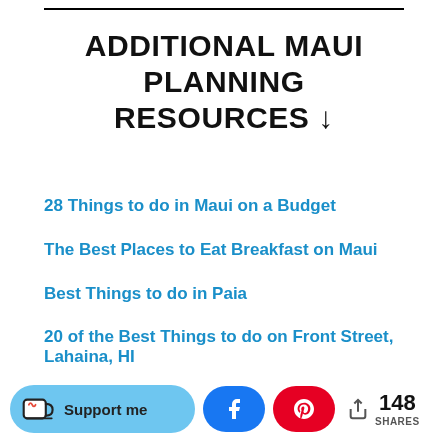ADDITIONAL MAUI PLANNING RESOURCES ↓
28 Things to do in Maui on a Budget
The Best Places to Eat Breakfast on Maui
Best Things to do in Paia
20 of the Best Things to do on Front Street, Lahaina, HI
Support me | Facebook share | Pinterest share | 148 SHARES